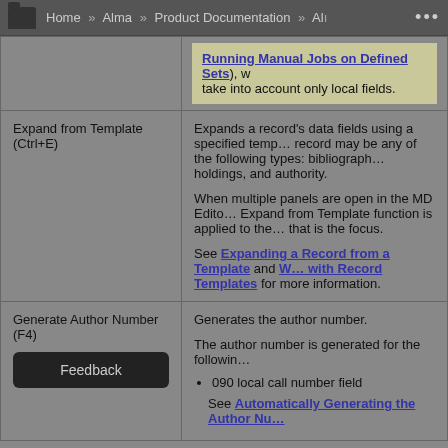Home » Alma » Product Documentation » Al…
| Option | Description |
| --- | --- |
|  | Running Manual Jobs on Defined Sets), w… take into account only local fields. |
| Expand from Template (Ctrl+E) | Expands a record's data fields using a specified temp… record may be any of the following types: bibliograph… holdings, and authority.

When multiple panels are open in the MD Edito… Expand from Template function is applied to the… that is the focus.

See Expanding a Record from a Template and W… with Record Templates for more information. |
| Generate Author Number (F4) | Generates the author number.

The author number is generated for the followin…
• 090 local call number field
  See Automatically Generating the Author Nu… |
Feedback